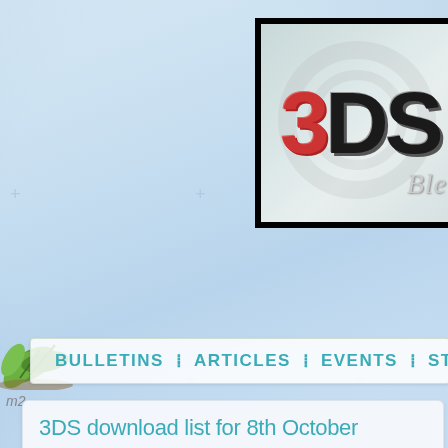[Figure (logo): 3DS Ble logo in a black-bordered box with teal/grey background. '3' in red, 'DS' in black bold, 'Ble' in italic silver script below.]
[Figure (illustration): Green leaves / plant decoration in the lower-left area of the page background.]
BULLETINS : ARTICLES : EVENTS : STAFF :
m2
3DS download list for 8th October
There is only one new release this week, but for many it is... Sonic 2 in 3D as part of SEGA and M2 3D Classics rang...